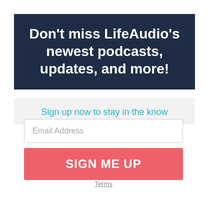Don't miss LifeAudio's newest podcasts, updates, and more!
Sign up now to stay in the know
Email Address
SIGN ME UP
Terms
[Figure (screenshot): Daily Bible Devotion App advertisement with app icon, title, star rating (4.5 stars, 22,917 reviews), and a GET IT FREE orange corner badge]
Daily Bible Devotion App
22,917